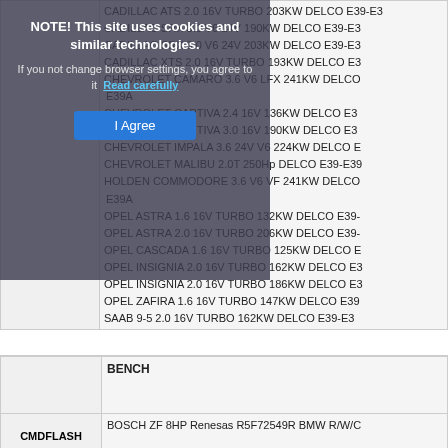[Figure (screenshot): Cookie consent overlay with title 'NOTE! This site uses cookies and similar technologies.', body text 'If you not change browser settings, you agree to it', a 'Read carefully' link, and an 'I Agree' button.]
CADILLAC ATS 2.0 16V TURBO 203KW DELCO E39-...
CADILLAC SRX 3.0 V6 24V 190KW DELCO E39-E3...
CADILLAC SRX 3.0 V6 24V 203KW DELCO E39-E3...
CADILLAC XTS 2.0 16V TURBO 193KW DELCO E3...
CHEVROLET CAMARO 3.6 V6 LFX 241KW DELCO E39A
CHEVROLET CAPTIVA 2.4 16V 136KW DELCO E3...
CHEVROLET CAPTIVA 3.0 16V 190KW DELCO E3...
CHEVROLET IMPALA 3.6 24V V6 224KW DELCO E...
CHEVROLET MALIBU 2.0T 250Hp DELCO E39-E39...
HOLDEN COMMODORE 3.6 V6 VF 241KW DELCO E39A
OPEL ASTRA 1.6 16V TURBO 132KW DELCO E39-...
OPEL ASTRA 2.0 16V TURBO 206KW DELCO E39-...
OPEL CASCADA 1.6 16V TURBO 125KW DELCO E...
OPEL INSIGNIA 2.0 16V TURBO 162KW DELCO E3...
OPEL INSIGNIA 2.0 16V TURBO 186KW DELCO E3...
OPEL ZAFIRA 1.6 16V TURBO 147KW DELCO E39...
SAAB 9-5 2.0 16V TURBO 162KW DELCO E39-E3...
BENCH
CMDFLASH
BOSCH ZF 8HP Renesas R5F72549R BMW R/W/C...